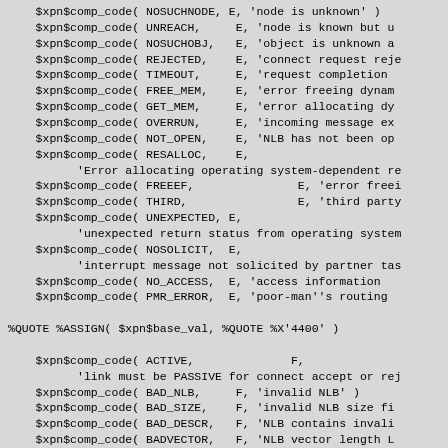$xpn$comp_code( NOSUCHNODE, E, 'node is unknown' )
    $xpn$comp_code( UNREACH,     E, 'node is known but u
    $xpn$comp_code( NOSUCHOBJ,   E, 'object is unknown a
    $xpn$comp_code( REJECTED,    E, 'connect request reje
    $xpn$comp_code( TIMEOUT,     E, 'request completion
    $xpn$comp_code( FREE_MEM,    E, 'error freeing dynam
    $xpn$comp_code( GET_MEM,     E, 'error allocating dy
    $xpn$comp_code( OVERRUN,     E, 'incoming message ex
    $xpn$comp_code( NOT_OPEN,    E, 'NLB has not been op
    $xpn$comp_code( RESALLOC,    E,
          'Error allocating operating system-dependent re
    $xpn$comp_code( FREEEF,               E, 'error freei
    $xpn$comp_code( THIRD,                E, 'third party
    $xpn$comp_code( UNEXPECTED, E,
          'unexpected return status from operating system
    $xpn$comp_code( NOSOLICIT,  E,
          'interrupt message not solicited by partner tas
    $xpn$comp_code( NO_ACCESS,  E, 'access information
    $xpn$comp_code( PMR_ERROR,  E, 'poor-man''s routing

%QUOTE %ASSIGN( $xpn$base_val, %QUOTE %X'4400' )

    $xpn$comp_code( ACTIVE,              F,
          'link must be PASSIVE for connect accept or rej
    $xpn$comp_code( BAD_NLB,     F, 'invalid NLB' )
    $xpn$comp_code( BAD_SIZE,    F, 'invalid NLB size fi
    $xpn$comp_code( BAD_DESCR,   F, 'NLB contains invali
    $xpn$comp_code( BADVECTOR,   F, 'NLB vector length L
    $xpn$comp_code( VERSION,     F, 'NLB version does no
    $xpn$comp_code( BAD_FLAGS,   F, 'invalid or inconsis